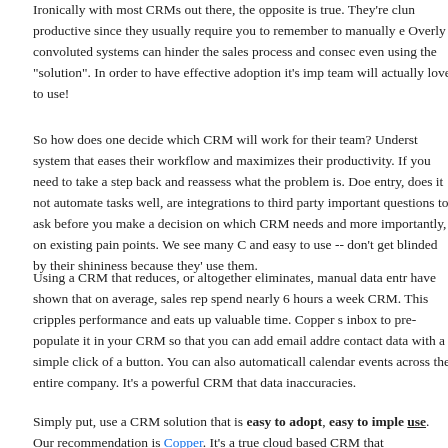Ironically with most CRMs out there, the opposite is true. They're clun productive since they usually require you to remember to manually e Overly convoluted systems can hinder the sales process and consec even using the "solution". In order to have effective adoption it's imp team will actually love to use!
So how does one decide which CRM will work for their team? Underst system that eases their workflow and maximizes their productivity. If you need to take a step back and reassess what the problem is. Doe entry, does it not automate tasks well, are integrations to third party important questions to ask before you make a decision on which CRM needs and more importantly, on existing pain points. We see many C and easy to use -- don't get blinded by their shininess because they' use them.
Using a CRM that reduces, or altogether eliminates, manual data entr have shown that on average, sales rep spend nearly 6 hours a week CRM. This cripples performance and eats up valuable time. Copper s inbox to pre-populate it in your CRM so that you can add email addre contact data with a simple click of a button. You can also automaticall calendar events across the entire company. It's a powerful CRM that data inaccuracies.
Simply put, use a CRM solution that is easy to adopt, easy to imple use. Our recommendation is Copper. It's a true cloud based CRM that